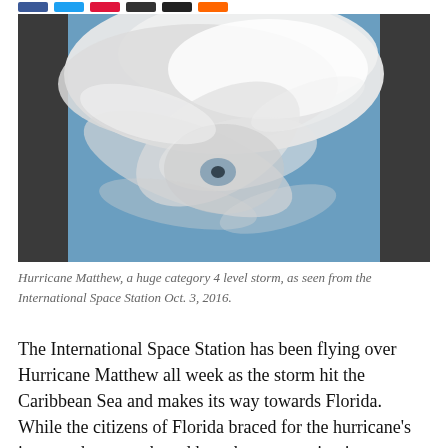[social share buttons]
[Figure (photo): Aerial/satellite view of Hurricane Matthew, a large swirling storm with a visible eye, as seen from the International Space Station on Oct. 3, 2016. The image shows white cloud spirals against a blue background with dark sidebar panels.]
Hurricane Matthew, a huge category 4 level storm, as seen from the International Space Station Oct. 3, 2016.
The International Space Station has been flying over Hurricane Matthew all week as the storm hit the Caribbean Sea and makes its way towards Florida. While the citizens of Florida braced for the hurricane's impact, the crew aboard have been capturing images and…